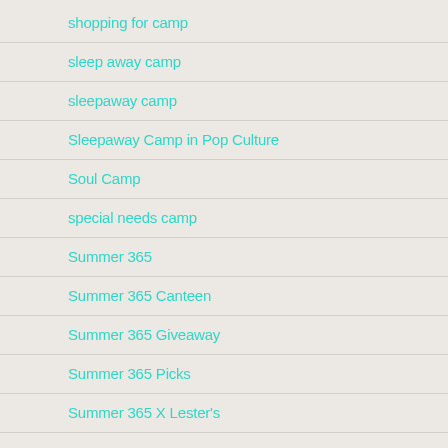shopping for camp
sleep away camp
sleepaway camp
Sleepaway Camp in Pop Culture
Soul Camp
special needs camp
Summer 365
Summer 365 Canteen
Summer 365 Giveaway
Summer 365 Picks
Summer 365 X Lester's
summer camp